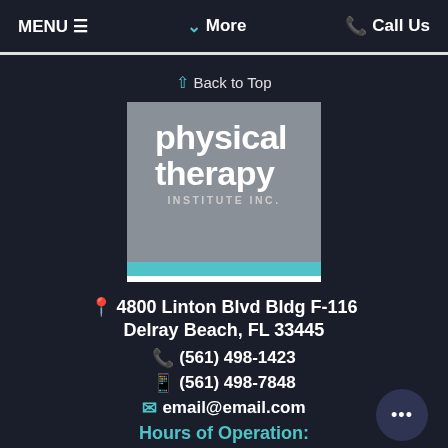MENU ≡   ✓ More   📞 Call Us
↑ Back to Top
[Figure (logo): Physical Therapy Institute Inc. logo — gray square background with white bold text 'physical therapy' and 'INSTITUTE INC.' below, with teal and white stripe at bottom.]
📍 4800 Linton Blvd Bldg F-116
Delray Beach, FL 33445
📞 (561) 498-1423
📠 (561) 498-7848
✉ email@email.com
Hours of Operation: